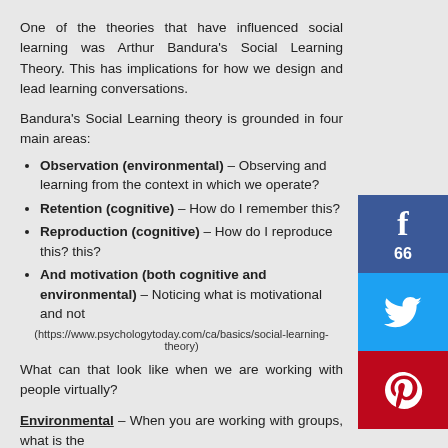One of the theories that have influenced social learning was Arthur Bandura's Social Learning Theory. This has implications for how we design and lead learning conversations.
Bandura's Social Learning theory is grounded in four main areas:
Observation (environmental) – Observing and learning from the context in which we operate?
Retention (cognitive) – How do I remember this?
Reproduction (cognitive) – How do I reproduce this? this?
And motivation (both cognitive and environmental) – Noticing what is motivational and not
(https://www.psychologytoday.com/ca/basics/social-learning-theory)
What can that look like when we are working with people virtually?
Environmental – When you are working with groups, what is the